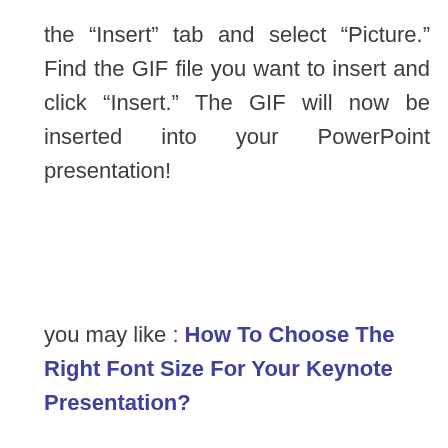the “Insert” tab and select “Picture.” Find the GIF file you want to insert and click “Insert.” The GIF will now be inserted into your PowerPoint presentation!
you may like : How To Choose The Right Font Size For Your Keynote Presentation?